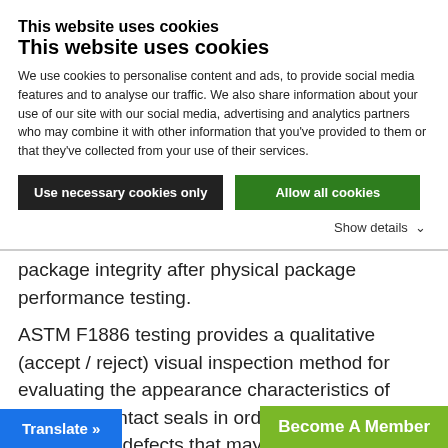This website uses cookies
We use cookies to personalise content and ads, to provide social media features and to analyse our traffic. We also share information about your use of our site with our social media, advertising and analytics partners who may combine it with other information that you've provided to them or that they've collected from your use of their services.
Use necessary cookies only | Allow all cookies
Show details ∨
package integrity after physical package performance testing.
ASTM F1886 testing provides a qualitative (accept / reject) visual inspection method for evaluating the appearance characteristics of unopened, intact seals in order to determine the presence of defects that may affect the integrity of the package. ASTM F1886 covers the determination of channels in the package seal down to a width of 75 μm (0.003 in.) with a 60 – 100 % probability
Translate »
Become A Member